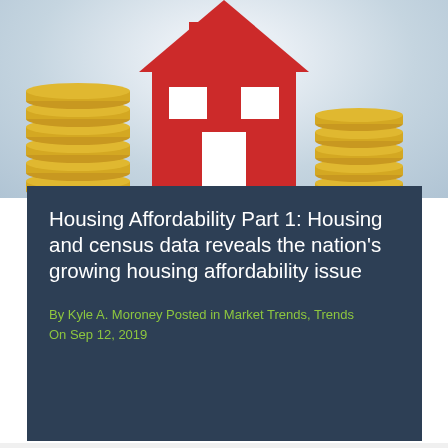[Figure (photo): Photograph of stacked gold coins with a red house icon/cutout in the background against a light gray/blue background]
Housing Affordability Part 1: Housing and census data reveals the nation's growing housing affordability issue
By Kyle A. Moroney Posted in Market Trends, Trends On Sep 12, 2019
Data released in September, by the National Association of Home Builders, the U.S. Census Bureau and the U.S. Department of Housing and Urban